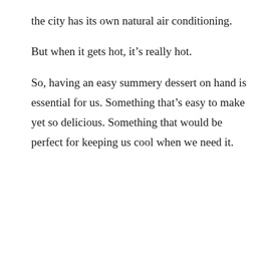the city has its own natural air conditioning.
But when it gets hot, it’s really hot.
So, having an easy summery dessert on hand is essential for us. Something that’s easy to make yet so delicious. Something that would be perfect for keeping us cool when we need it.